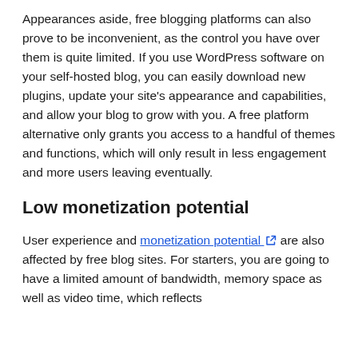Appearances aside, free blogging platforms can also prove to be inconvenient, as the control you have over them is quite limited. If you use WordPress software on your self-hosted blog, you can easily download new plugins, update your site's appearance and capabilities, and allow your blog to grow with you. A free platform alternative only grants you access to a handful of themes and functions, which will only result in less engagement and more users leaving eventually.
Low monetization potential
User experience and monetization potential are also affected by free blog sites. For starters, you are going to have a limited amount of bandwidth, memory space as well as video time, which reflects